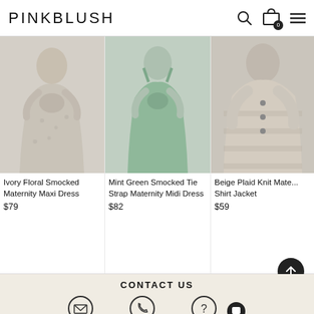PINKBLUSH
[Figure (photo): Pregnant woman wearing Ivory Floral Smocked Maternity Maxi Dress on grey background]
Ivory Floral Smocked Maternity Maxi Dress
$79
[Figure (photo): Pregnant woman wearing Mint Green Smocked Tie Strap Maternity Midi Dress on grey background]
Mint Green Smocked Tie Strap Maternity Midi Dress
$82
[Figure (photo): Pregnant woman wearing Beige Plaid Knit Maternity Shirt Jacket on grey background]
Beige Plaid Knit Maternity Shirt Jacket
$59
CONTACT US
[Figure (illustration): Three contact icons: email envelope, phone, and help/question mark bubble, plus chat bubble icon]